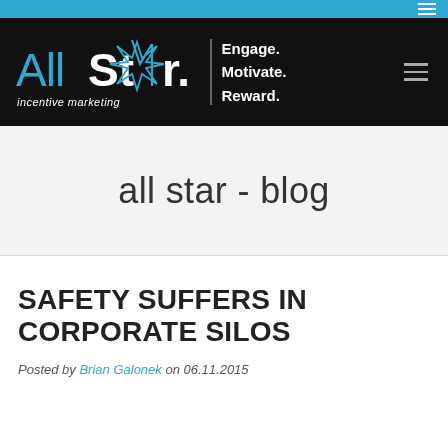All Star Incentive Marketing — navigation bar with hamburger menu
[Figure (logo): All Star Incentive Marketing logo with 'Engage. Motivate. Reward.' tagline on black background]
all star - blog
SAFETY SUFFERS IN CORPORATE SILOS
Posted by Brian Galonek on 06.11.2015